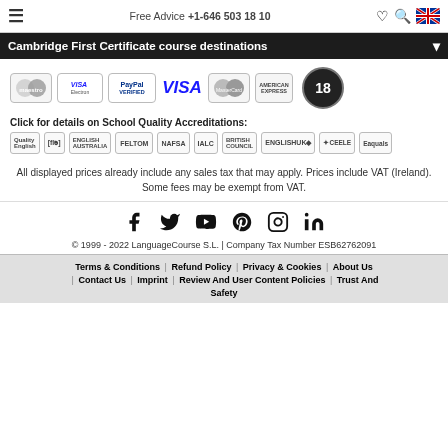Free Advice +1-646 503 18 10
Cambridge First Certificate course destinations
[Figure (logo): Payment provider logos: Maestro, VISA Electron, PayPal Verified, VISA, MasterCard, American Express, 18 years anniversary badge]
Click for details on School Quality Accreditations:
[Figure (logo): Accreditation logos: Quality English, flo, English Australia, FELTOM, NAFSA, IALC, British Council, EnglishUK, CEELE, Eaquals]
All displayed prices already include any sales tax that may apply. Prices include VAT (Ireland). Some fees may be exempt from VAT.
[Figure (infographic): Social media icons: Facebook, Twitter, YouTube, Pinterest, Instagram, LinkedIn]
© 1999 - 2022 LanguageCourse S.L. | Company Tax Number ESB62762091
Terms & Conditions | Refund Policy | Privacy & Cookies | About Us | Contact Us | Imprint | Review And User Content Policies | Trust And Safety